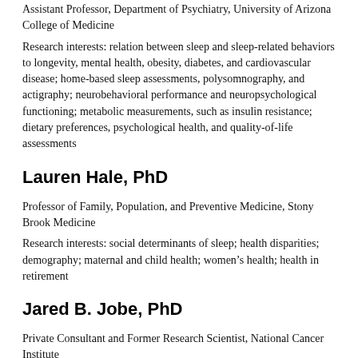Assistant Professor, Department of Psychiatry, University of Arizona College of Medicine
Research interests: relation between sleep and sleep-related behaviors to longevity, mental health, obesity, diabetes, and cardiovascular disease; home-based sleep assessments, polysomnography, and actigraphy; neurobehavioral performance and neuropsychological functioning; metabolic measurements, such as insulin resistance; dietary preferences, psychological health, and quality-of-life assessments
Lauren Hale, PhD
Professor of Family, Population, and Preventive Medicine, Stony Brook Medicine
Research interests: social determinants of sleep; health disparities; demography; maternal and child health; women's health; health in retirement
Jared B. Jobe, PhD
Private Consultant and Former Research Scientist, National Cancer Institute